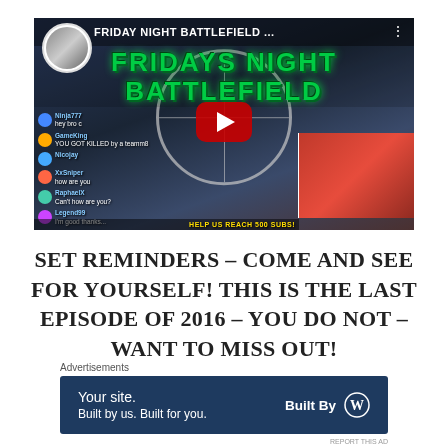[Figure (screenshot): YouTube video thumbnail for 'Friday Night Battlefield...' showing a gaming livestream with a sniper scope view, YouTube play button, chat overlay, and webcam showing a person in a red hoodie. Text reads 'FRIDAY NIGHT BATTLEFIELD ...' and 'FRIDAYS NIGHT BATTLEFIELD' in green metal lettering. Bottom right says 'HELP US REACH 500 SUBS!']
SET REMINDERS – COME AND SEE FOR YOURSELF! THIS IS THE LAST EPISODE OF 2016 – YOU DO NOT – WANT TO MISS OUT!
Advertisements
[Figure (screenshot): Advertisement banner with dark navy background. Left side says 'Your site. Built by us. Built for you.' Right side says 'Built By' with WordPress logo.]